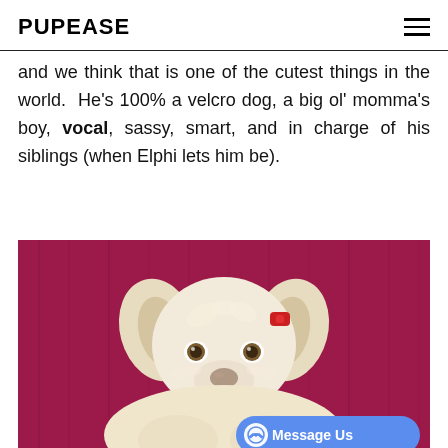PUPEASE
and we think that is one of the cutest things in the world.  He's 100% a velcro dog, a big ol' momma's boy, vocal, sassy, smart, and in charge of his siblings (when Elphi lets him be).
[Figure (photo): Close-up photo of a small fluffy white/cream dog with large ears against a pink/magenta background, wearing a small red hair clip]